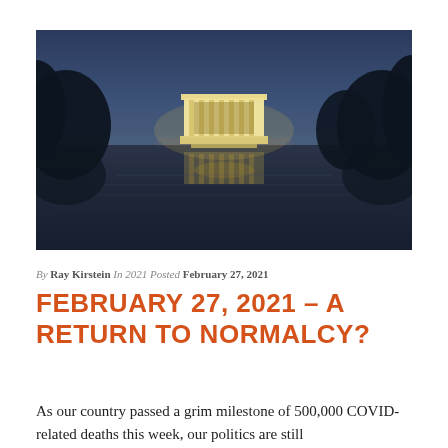[Figure (photo): Night photograph of the Lincoln Memorial reflected in the Reflecting Pool, Washington D.C., with dark blue sky and trees silhouetted on either side]
By Ray Kirstein In 2021 Posted February 27, 2021
FEBRUARY 27, 2021 – A RETURN TO NORMALCY?
As our country passed a grim milestone of 500,000 COVID-related deaths this week, our politics are still